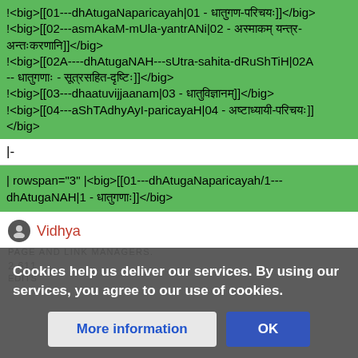!<big>[[01---dhAtugaNaparicayah|01 - धातुगण-परिचयः]]</big>
!<big>[[02---asmAkaM-mUla-yantrANi|02 - अस्माकम् यन्त्र-अन्तःकरणानि]]</big>
!<big>[[02A----dhAtugaNAH---sUtra-sahita-dRuShTiH|02A -- धातुगणाः - सूत्रसहित-दृष्टिः]]</big>
!<big>[[03---dhaatuvijjaanam|03 - धातुविज्ञानम्]]</big>
!<big>[[04---aShTAdhyAyI-paricayaH|04 - अष्टाध्यायी-परिचयः]]</big>
|-
| rowspan="3" |<big>[[01---dhAtugaNaparicayah/1---dhAtugaNAH|1 - धातुगणाः]]</big>
Vidhya
PAGE AND LINK MANAGERS.
EDITS
Cookies help us deliver our services. By using our services, you agree to our use of cookies.
More information
OK